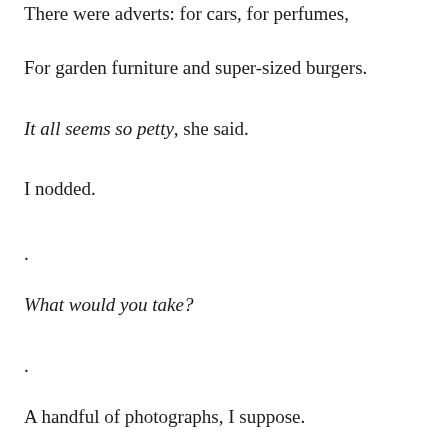There were adverts: for cars, for perfumes,
For garden furniture and super-sized burgers.
It all seems so petty, she said.
I nodded.
.
What would you take?
.
A handful of photographs, I suppose.